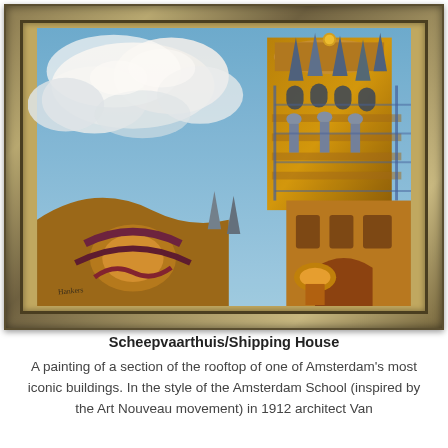[Figure (photo): A framed oil painting of the Scheepvaarthuis (Shipping House) in Amsterdam, showing an ornate rooftop with tower, statues, decorative stonework in warm browns and blues, against a bright blue sky with white clouds. The painting is displayed in an ornate gold/bronze frame. Artist signature visible in lower left.]
Scheepvaarthuis/Shipping House
A painting of a section of the rooftop of one of Amsterdam's most iconic buildings. In the style of the Amsterdam School (inspired by the Art Nouveau movement) in 1912 architect Van